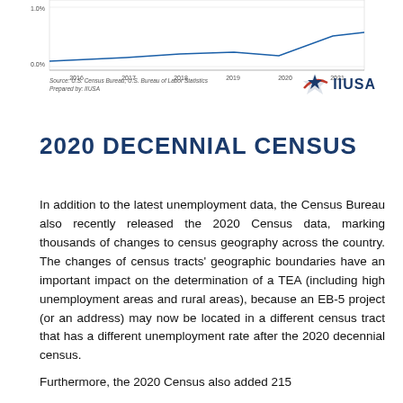[Figure (continuous-plot): Bottom fragment of a line chart showing unemployment rate data from 2016 to 2021, with y-axis showing 1.0% and 0.0% labels and x-axis showing years 2016-2021. Only the bottom portion of the chart is visible.]
Source: U.S. Census Bureau; U.S. Bureau of Labor Statistics
Prepared by: IIUSA
2020 DECENNIAL CENSUS
In addition to the latest unemployment data, the Census Bureau also recently released the 2020 Census data, marking thousands of changes to census geography across the country. The changes of census tracts' geographic boundaries have an important impact on the determination of a TEA (including high unemployment areas and rural areas), because an EB-5 project (or an address) may now be located in a different census tract that has a different unemployment rate after the 2020 decennial census.
Furthermore, the 2020 Census also added 215